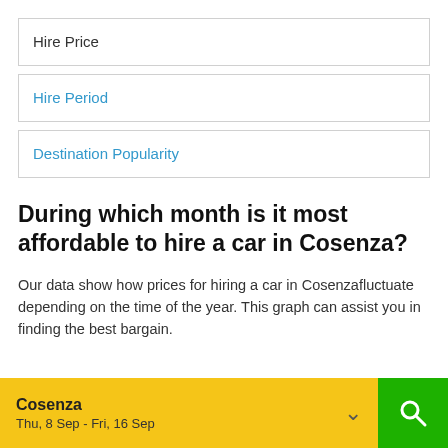Hire Price
Hire Period
Destination Popularity
During which month is it most affordable to hire a car in Cosenza?
Our data show how prices for hiring a car in Cosenzafluctuate depending on the time of the year. This graph can assist you in finding the best bargain.
Cosenza
Thu, 8 Sep - Fri, 16 Sep